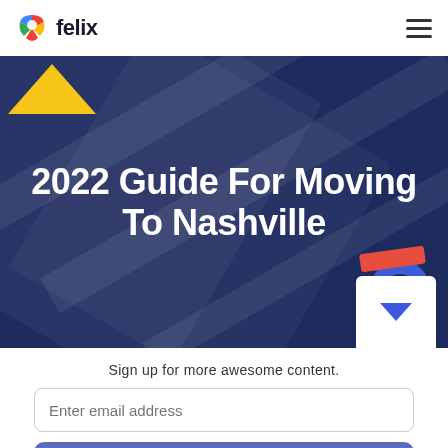felix
[Figure (screenshot): Felix logo with colorful leaf/pin icon and the word 'felix' in bold dark text, hamburger menu icon on the right]
2022 Guide For Moving To Nashville
[Figure (infographic): Dark navy hero banner with diagonal stripe decorations, yellow triangle top-left, orange rectangle and blue circle decoration bottom-right, white card with blue down-arrow]
Sign up for more awesome content.
Enter email address
Submit